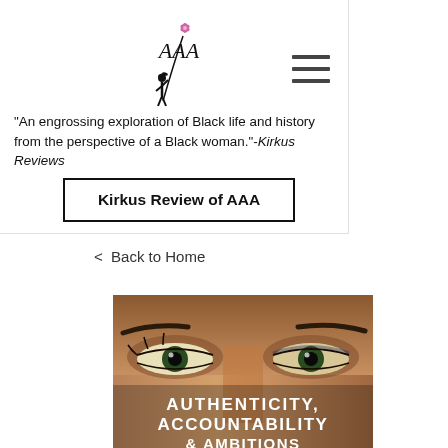[Figure (logo): AAA logo with silhouette of a child flying a kite with a flower, text 'AAA' in script]
[Figure (other): Hamburger menu icon (three horizontal lines)]
"An engrossing exploration of Black life and history from the perspective of a Black woman."-Kirkus Reviews
Kirkus Review of AAA
< Back to Home
[Figure (photo): Close-up photo of a person's eyes forming the book cover background. Book title text overlaid reads: AUTHENTICITY, ACCOUNTABILITY & AMBITIONS]